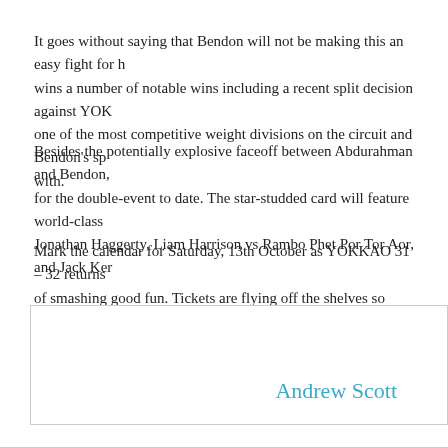It goes without saying that Bendon will not be making this an easy fight for him. Bendon wins a number of notable wins including a recent split decision against YOK one of the most competitive weight divisions on the circuit and Bendon's sp with.
Besides the potentially explosive faceoff between Abdurahman and Bendon, for the double-event to date. The star-studded card will feature world-class Jonathan Haggerty, Liam Harrison vs Rambo Phet Por Tor Aor, and Jack Ker
Mark the calendar for Saturday, 13th October as YOKKAO 31 – 32 returns of smashing good fun. Tickets are flying off the shelves so grab them now at
Andrew Scott
[Figure (other): Red plus/add button icon]